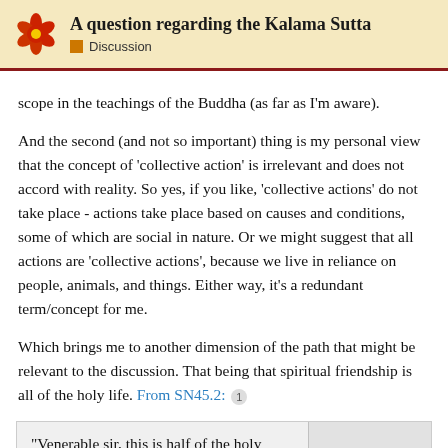A question regarding the Kalama Sutta | Discussion
scope in the teachings of the Buddha (as far as I’m aware).
And the second (and not so important) thing is my personal view that the concept of ‘collective action’ is irrelevant and does not accord with reality. So yes, if you like, ‘collective actions’ do not take place - actions take place based on causes and conditions, some of which are social in nature. Or we might suggest that all actions are ‘collective actions’, because we live in reliance on people, animals, and things. Either way, it’s a redundant term/concept for me.
Which brings me to another dimension of the path that might be relevant to the discussion. That being that spiritual friendship is all of the holy life. From SN45.2: 1
“Venerable sir, this is half of the holy friendship, good companionship, good
18 / 92